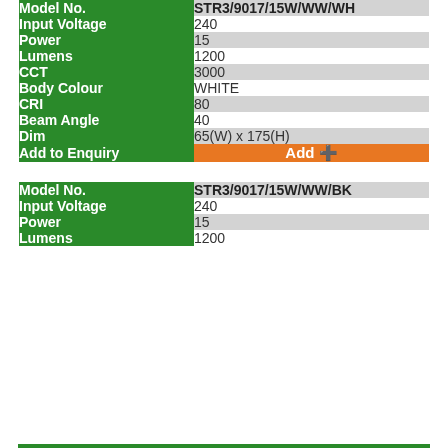| Attribute | Value |
| --- | --- |
| Model No. | STR3/9017/15W/WW/WH |
| Input Voltage | 240 |
| Power | 15 |
| Lumens | 1200 |
| CCT | 3000 |
| Body Colour | WHITE |
| CRI | 80 |
| Beam Angle | 40 |
| Dim | 65(W) x 175(H) |
| Add to Enquiry | Add + |
| Attribute | Value |
| --- | --- |
| Model No. | STR3/9017/15W/WW/BK |
| Input Voltage | 240 |
| Power | 15 |
| Lumens | 1200 |